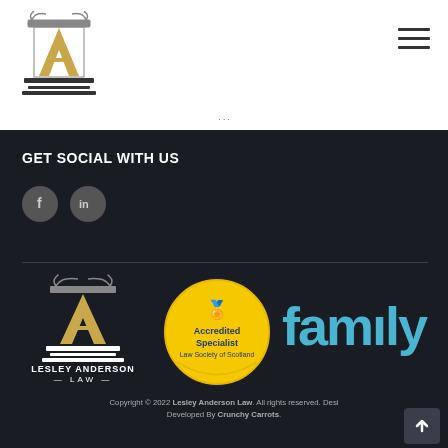[Figure (logo): Lesley Anderson Law logo with column icon and 'LA' letters in gold, shown in header]
[Figure (other): Hamburger menu icon (three horizontal lines) in top right of header]
GET SOCIAL WITH US
[Figure (other): Social media icons: Facebook (f) and LinkedIn (in) as dark circular buttons]
[Figure (logo): Lesley Anderson Law footer logo with column and LA letters in gold, white text 'LESLEY ANDERSON LAW']
[Figure (other): Accredited Specialist Law Society of Scotland gold circular badge]
[Figure (logo): Family Law logo partial text in blue/teal]
Copyright © 2022 Lesley Anderson Law. All rights reserved. Desi Developed By Crunchy Carrots.